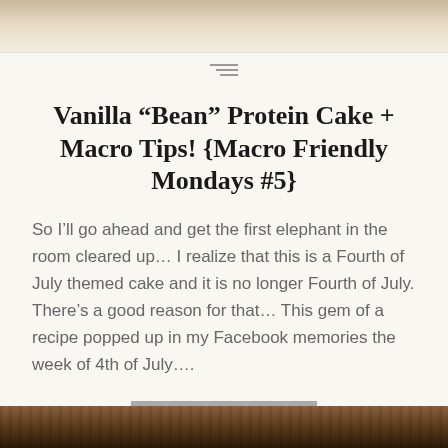[Figure (photo): Top portion of a food photo showing a beige/cream colored cake or dessert]
Vanilla “Bean” Protein Cake + Macro Tips! {Macro Friendly Mondays #5}
So I’ll go ahead and get the first elephant in the room cleared up… I realize that this is a Fourth of July themed cake and it is no longer Fourth of July. There’s a good reason for that… This gem of a recipe popped up in my Facebook memories the week of 4th of July….
READ MORE
[Figure (photo): Bottom portion of a food photo showing a dark chocolate or caramel dessert with nuts]